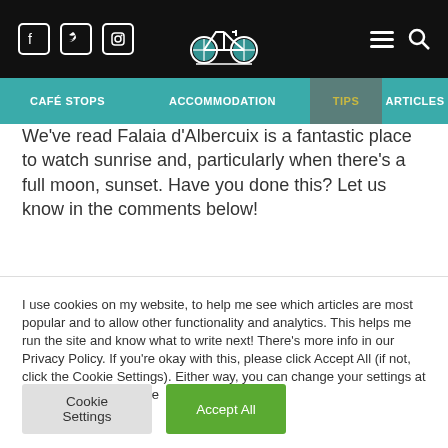Navigation header with social icons (Facebook, Twitter, Instagram), bicycle logo, hamburger menu, and search icon
CAFÉ STOPS | ACCOMMODATION | TIPS | ARTICLES
We've read Falaia d'Albercuix is a fantastic place to watch sunrise and, particularly when there's a full moon, sunset. Have you done this? Let us know in the comments below!
I use cookies on my website, to help me see which articles are most popular and to allow other functionality and analytics. This helps me run the site and know what to write next! There's more info in our Privacy Policy. If you're okay with this, please click Accept All (if not, click the Cookie Settings). Either way, you can change your settings at any time. Thanks! Clare